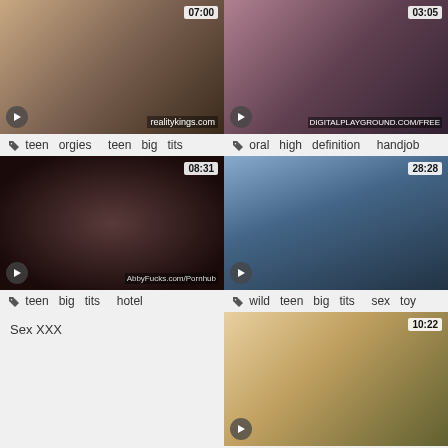[Figure (photo): Video thumbnail: woman in bikini indoors, timestamp 07:00, realitykings.com watermark]
teen orgies  teen big tits
[Figure (photo): Video thumbnail: dark-haired woman in pink top with man, timestamp 03:05, digitalplayground watermark]
oral  high definition  handjob
[Figure (photo): Video thumbnail: close-up blurred face, timestamp 08:31, abbyfucks watermark]
teen big tits  hotel
[Figure (photo): Video thumbnail: woman on balcony outdoors, timestamp 28:28]
wild  teen big tits  sex toy
[Figure (photo): Broken image placeholder: Sex XXX]
[Figure (photo): Video thumbnail: blonde woman smiling, timestamp 10:22]
throat  fucked  fucking
[Figure (photo): Partial bottom thumbnail left]
[Figure (photo): Partial bottom thumbnail right]